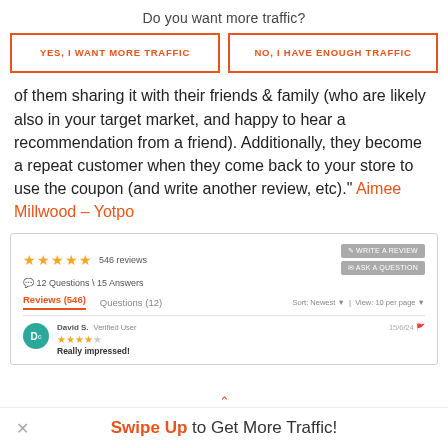Do you want more traffic?
YES, I WANT MORE TRAFFIC | NO, I HAVE ENOUGH TRAFFIC
of them sharing it with their friends & family (who are likely also in your target market, and happy to hear a recommendation from a friend). Additionally, they become a repeat customer when they come back to your store to use the coupon (and write another review, etc)." Aimee Millwood – Yotpo
[Figure (screenshot): Screenshot of a product review interface showing 5 stars, 546 reviews, 12 Questions / 15 Answers, Write a Review and Ask a Question buttons, Reviews (546) and Questions (12) tabs with sort options, and a review by David S. a Verified User dated 15/6/24 with 4.5 stars titled Really impressed!]
× Swipe Up to Get More Traffic!